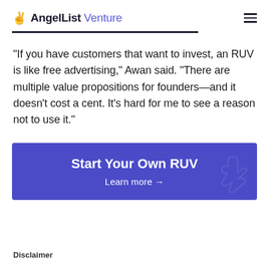AngelList Venture
“If you have customers that want to invest, an RUV is like free advertising,” Awan said. “There are multiple value propositions for founders—and it doesn’t cost a cent. It’s hard for me to see a reason not to use it.”
[Figure (infographic): Purple CTA banner with text 'Start Your Own RUV' and 'Learn more →' with a peace sign icon on the right]
Disclaimer